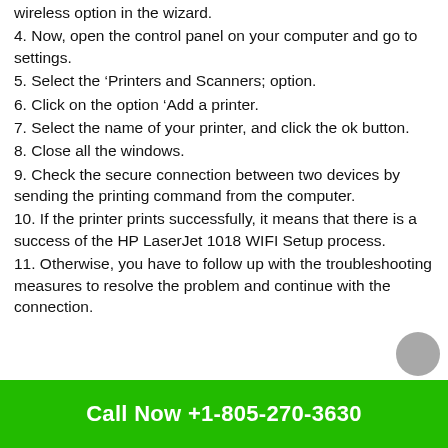wireless option in the wizard.
4. Now, open the control panel on your computer and go to settings.
5. Select the ‘Printers and Scanners; option.
6. Click on the option ‘Add a printer.
7. Select the name of your printer, and click the ok button.
8. Close all the windows.
9. Check the secure connection between two devices by sending the printing command from the computer.
10. If the printer prints successfully, it means that there is a success of the HP LaserJet 1018 WIFI Setup process.
11. Otherwise, you have to follow up with the troubleshooting measures to resolve the problem and continue with the connection.
Call Now +1-805-270-3630